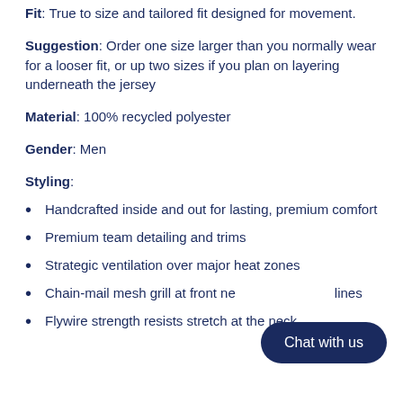Fit: True to size and tailored fit designed for movement.
Suggestion: Order one size larger than you normally wear for a looser fit, or up two sizes if you plan on layering underneath the jersey
Material: 100% recycled polyester
Gender: Men
Styling:
Handcrafted inside and out for lasting, premium comfort
Premium team detailing and trims
Strategic ventilation over major heat zones
Chain-mail mesh grill at front ne... lines
Flywire strength resists stretch at the neck